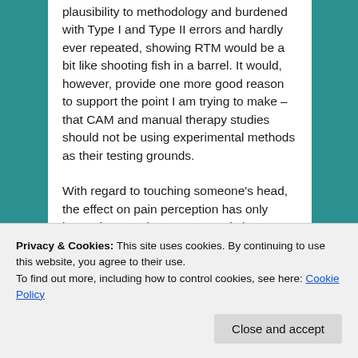plausibility to methodology and burdened with Type I and Type II errors and hardly ever repeated, showing RTM would be a bit like shooting fish in a barrel. It would, however, provide one more good reason to support the point I am trying to make – that CAM and manual therapy studies should not be using experimental methods as their testing grounds.
With regard to touching someone's head, the effect on pain perception has only been shown to be unsupported via
Privacy & Cookies: This site uses cookies. By continuing to use this website, you agree to their use.
To find out more, including how to control cookies, see here: Cookie Policy